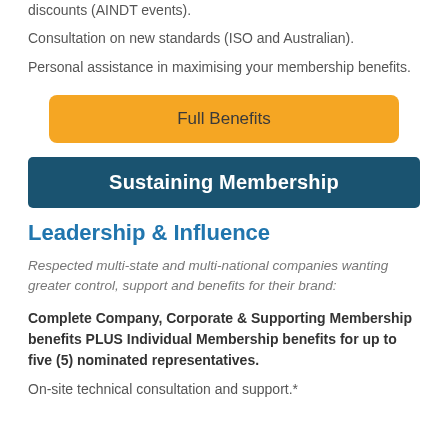discounts (AINDT events).
Consultation on new standards (ISO and Australian).
Personal assistance in maximising your membership benefits.
Full Benefits
Sustaining Membership
Leadership & Influence
Respected multi-state and multi-national companies wanting greater control, support and benefits for their brand:
Complete Company, Corporate & Supporting Membership benefits PLUS Individual Membership benefits for up to five (5) nominated representatives.
On-site technical consultation and support.*